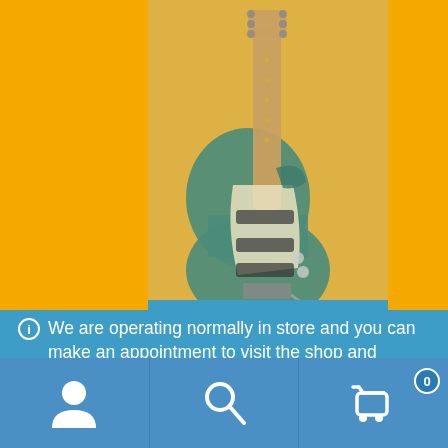[Figure (photo): A Fender Stratocaster-style electric guitar in teal/seafoam green with a maple neck, photographed against a beige/tan background. The image has a yellow-orange overlay/tint. The guitar is shown full-length.]
We are operating normally in store and you can make an appointment to visit the shop and workshops. by calling 07916 840260
Dismiss
[Figure (infographic): Bottom navigation bar with three icons: a person/user icon on the left, a search/magnifier icon in the center, and a shopping cart icon with a badge showing '0' on the right.]